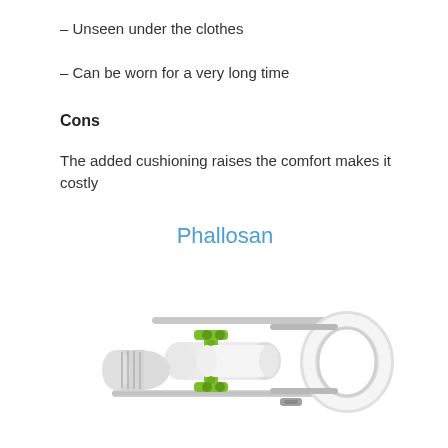– Unseen under the clothes
– Can be worn for a very long time
Cons
The added cushioning raises the comfort makes it costly
Phallosan
[Figure (photo): Photo of a Phallosan medical device — a white cylindrical tube with green plastic bracket/frame component and chrome metal rods with a white ring attachment on the right side.]